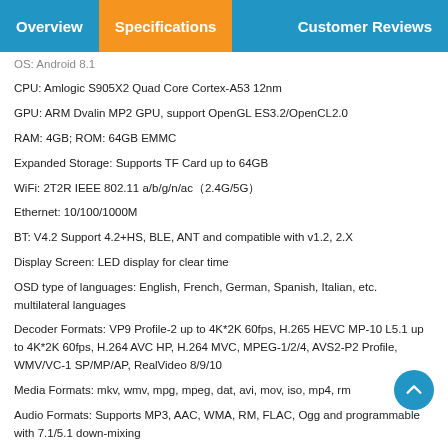Overview | Specifications | Customer Reviews
OS: Android 8.1
CPU: Amlogic S905X2 Quad Core Cortex-A53 12nm
GPU: ARM Dvalin MP2 GPU, support OpenGL ES3.2/OpenCL2.0
RAM: 4GB; ROM: 64GB EMMC
Expanded Storage: Supports TF Card up to 64GB
WiFi: 2T2R IEEE 802.11 a/b/g/n/ac（2.4G/5G）
Ethernet: 10/100/1000M
BT: V4.2 Support 4.2+HS, BLE, ANT and compatible with v1.2, 2.X
Display Screen: LED display for clear time
OSD type of languages: English, French, German, Spanish, Italian, etc. multilateral languages
Decoder Formats: VP9 Profile-2 up to 4K*2K 60fps, H.265 HEVC MP-10 L5.1 up to 4K*2K 60fps, H.264 AVC HP, H.264 MVC, MPEG-1/2/4, AVS2-P2 Profile, WMV/VC-1 SP/MP/AP, RealVideo 8/9/10
Media Formats: mkv, wmv, mpg, mpeg, dat, avi, mov, iso, mp4, rm
Audio Formats: Supports MP3, AAC, WMA, RM, FLAC, Ogg and programmable with 7.1/5.1 down-mixing
Photo Formats: HD JPEG, BMP, GIF, PNG, TIFF